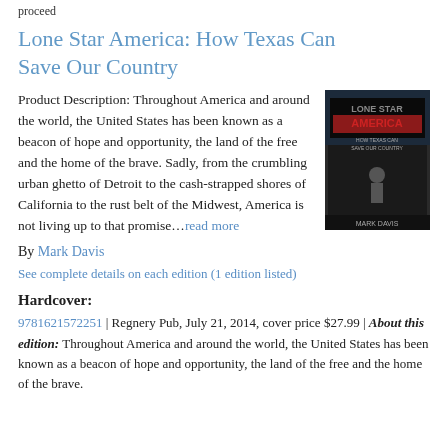proceed
Lone Star America: How Texas Can Save Our Country
Product Description: Throughout America and around the world, the United States has been known as a beacon of hope and opportunity, the land of the free and the home of the brave. Sadly, from the crumbling urban ghetto of Detroit to the cash-strapped shores of California to the rust belt of the Midwest, America is not living up to that promise...read more
[Figure (photo): Book cover of Lone Star America by Mark Davis]
By Mark Davis
See complete details on each edition (1 edition listed)
Hardcover:
9781621572251 | Regnery Pub, July 21, 2014, cover price $27.99 | About this edition: Throughout America and around the world, the United States has been known as a beacon of hope and opportunity, the land of the free and the home of the brave.